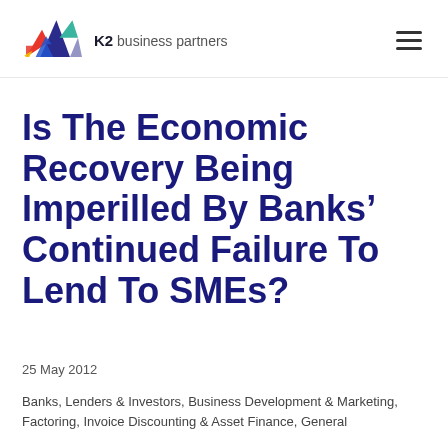K2 business partners
Is The Economic Recovery Being Imperilled By Banks' Continued Failure To Lend To SMEs?
25 May 2012
Banks, Lenders & Investors, Business Development & Marketing, Factoring, Invoice Discounting & Asset Finance, General